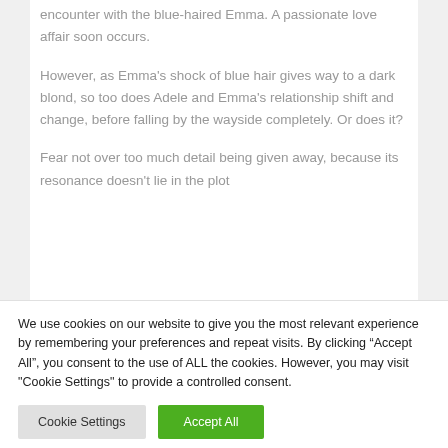encounter with the blue-haired Emma. A passionate love affair soon occurs.
However, as Emma's shock of blue hair gives way to a dark blond, so too does Adele and Emma's relationship shift and change, before falling by the wayside completely. Or does it?
Fear not over too much detail being given away, because its resonance doesn't lie in the plot
We use cookies on our website to give you the most relevant experience by remembering your preferences and repeat visits. By clicking “Accept All”, you consent to the use of ALL the cookies. However, you may visit "Cookie Settings" to provide a controlled consent.